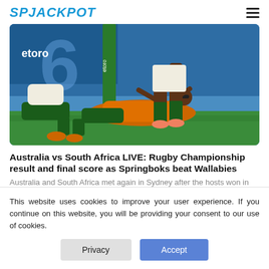SPJACKPOT
[Figure (photo): Rugby match photo showing a player in an orange jersey lying on the ground with players in dark green jerseys around him, in a stadium with blue advertising boards showing etoro logo]
Australia vs South Africa LIVE: Rugby Championship result and final score as Springboks beat Wallabies
Australia and South Africa met again in Sydney after the hosts won in Adelaide last time out.
This website uses cookies to improve your user experience. If you continue on this website, you will be providing your consent to our use of cookies.